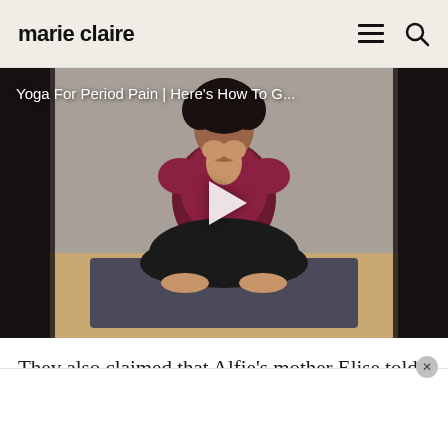marie claire
[Figure (screenshot): Video thumbnail showing a woman in a red top and black pants sitting cross-legged on a yoga mat in a meditation/yoga pose. Video title overlay reads 'Yoga For Period Pain | Here's How To G...' with a play button in the center.]
They also claimed that Alfie's mother Elise told